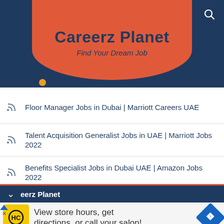[Figure (screenshot): Careerz Planet website header with red rounded banner showing 'Careerz Planet' title and 'Find Your Dream Job' subtitle on dark navy background, with search icon in top right]
Floor Manager Jobs in Dubai | Marriott Careers UAE
Talent Acquisition Generalist Jobs in UAE | Marriott Jobs 2022
Benefits Specialist Jobs in Dubai UAE | Amazon Jobs 2022
Ops Eng Project Manager Jobs in Dubai UAE | Amazon Jobs 2022
Cost Clerk Jobs in Sharjah UAE | Al Futtaim Jobs 2022
eerz Planet
[Figure (infographic): Advertisement banner showing HC logo in yellow box with text 'View store hours, get directions, or call your salon!' and a blue diamond navigation arrow icon]